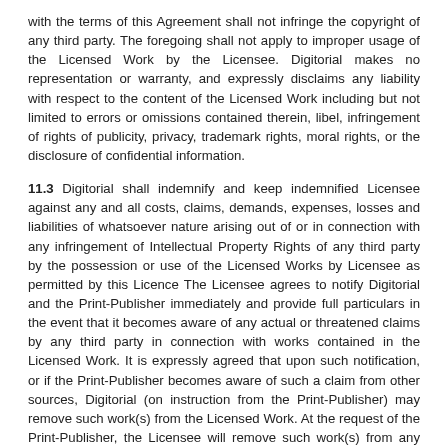with the terms of this Agreement shall not infringe the copyright of any third party. The foregoing shall not apply to improper usage of the Licensed Work by the Licensee. Digitorial makes no representation or warranty, and expressly disclaims any liability with respect to the content of the Licensed Work including but not limited to errors or omissions contained therein, libel, infringement of rights of publicity, privacy, trademark rights, moral rights, or the disclosure of confidential information.
11.3 Digitorial shall indemnify and keep indemnified Licensee against any and all costs, claims, demands, expenses, losses and liabilities of whatsoever nature arising out of or in connection with any infringement of Intellectual Property Rights of any third party by the possession or use of the Licensed Works by Licensee as permitted by this Licence The Licensee agrees to notify Digitorial and the Print-Publisher immediately and provide full particulars in the event that it becomes aware of any actual or threatened claims by any third party in connection with works contained in the Licensed Work. It is expressly agreed that upon such notification, or if the Print-Publisher becomes aware of such a claim from other sources, Digitorial (on instruction from the Print-Publisher) may remove such work(s) from the Licensed Work. At the request of the Print-Publisher, the Licensee will remove such work(s) from any copies of the Licensed Work maintained by the Licensee. At Digitorial's request and expense, Licensee shall permit Digitorial to conduct all negotiations and litigation in respect of the 3rd party claim. Licensee shall give all reasonable assistance and Digitorial shall pay Licensee's costs and expenses incurred.
11.4 This indemnity shall not apply to infringements or breaches arising directly from the combination of the Licensed Works with other content or